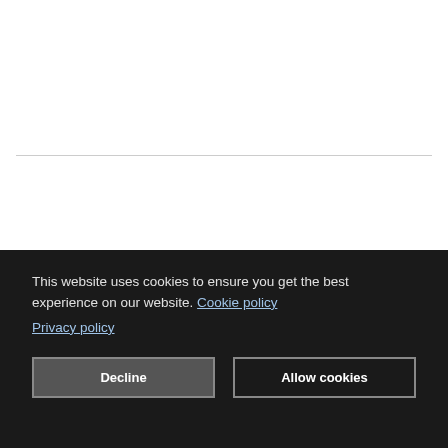This website uses cookies to ensure you get the best experience on our website. Cookie policy Privacy policy
Decline
Allow cookies